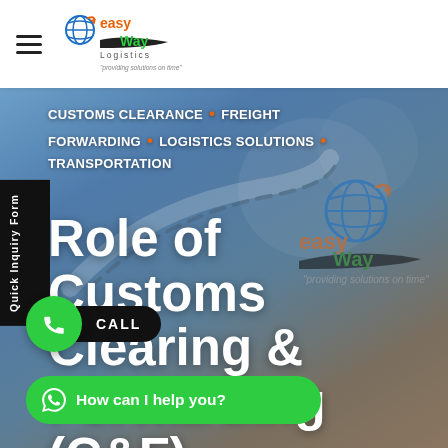Easy Way Logistics — navigation header with logo and hamburger menu
[Figure (logo): Easy Way Logistics logo with globe icon and tagline 'providing solutions on time']
CUSTOMS CLEARANCE · FREIGHT FORWARDING · LOGISTICS SOLUTIONS · TRANSPORTATION
Role of Customs Clearing & Forwarding (C&F) Agents in Imports Exports
Quick Inquiry Form
CALL
How can I help you?